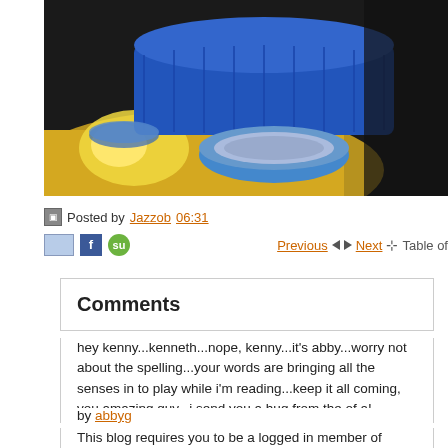[Figure (photo): Photo of blue plastic baskets and a blue bowl on a yellow surface with dark background]
Posted by Jazzob 06:31
Share icons: email, Facebook, StumbleUpon. Navigation: Previous | Next | Table of
Comments
hey kenny...kenneth...nope, kenny...it's abby...worry not about the spelling...your words are bringing all the senses in to play while i'm reading...keep it all coming, you amazing guy...i send you a hug from the of a!
by abbyg
This blog requires you to be a logged in member of Travellerspoint to pla comments.